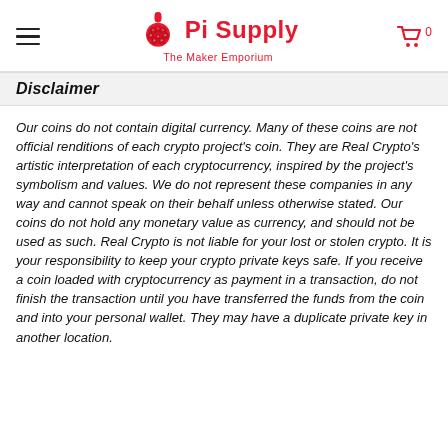Pi Supply – The Maker Emporium
Disclaimer
Our coins do not contain digital currency. Many of these coins are not official renditions of each crypto project's coin. They are Real Crypto's artistic interpretation of each cryptocurrency, inspired by the project's symbolism and values. We do not represent these companies in any way and cannot speak on their behalf unless otherwise stated. Our coins do not hold any monetary value as currency, and should not be used as such. Real Crypto is not liable for your lost or stolen crypto. It is your responsibility to keep your crypto private keys safe. If you receive a coin loaded with cryptocurrency as payment in a transaction, do not finish the transaction until you have transferred the funds from the coin and into your personal wallet. They may have a duplicate private key in another location.